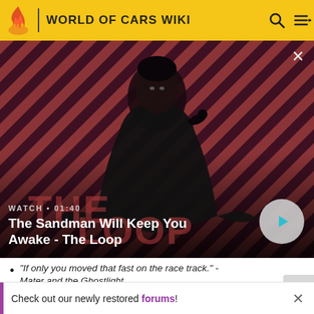WORLD OF CARS WIKI
[Figure (screenshot): Video thumbnail for 'The Sandman Will Keep You Awake - The Loop' with a dark-cloaked figure against a red and dark stripe background, a raven on shoulder, with WATCH · 01:40 overlay and play button]
WATCH · 01:40
The Sandman Will Keep You Awake - The Loop
"If only you moved that fast on the race track." - Mater and the Ghostlight
"Good, I like a little competition." - Cars: Mater-
Check out our newly restored forums!